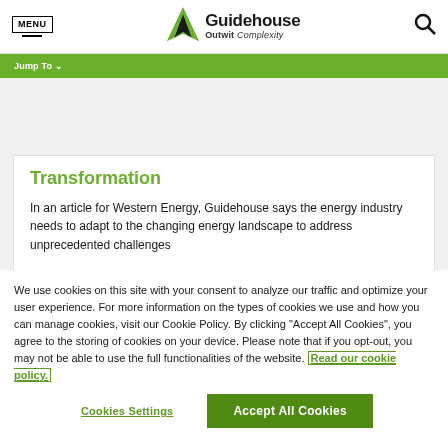MENU | Guidehouse Outwit Complexity | [search]
Jump To
Transformation
In an article for Western Energy, Guidehouse says the energy industry needs to adapt to the changing energy landscape to address unprecedented challenges
We use cookies on this site with your consent to analyze our traffic and optimize your user experience. For more information on the types of cookies we use and how you can manage cookies, visit our Cookie Policy. By clicking "Accept All Cookies", you agree to the storing of cookies on your device. Please note that if you opt-out, you may not be able to use the full functionalities of the website. Read our cookie policy.
Cookies Settings | Accept All Cookies